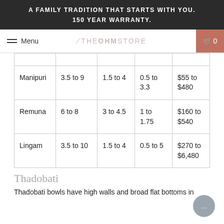A FAMILY TRADITION THAT STARTS WITH YOU.
150 YEAR WARRANTY.
Menu  THEOHMSTORE  0
|  |  |  |  |  |
| --- | --- | --- | --- | --- |
|  |  |  |  |  |
| Manipuri | 3.5 to 9 | 1.5 to 4 | 0.5 to 3.3 | $55 to $480 |
| Remuna | 6 to 8 | 3 to 4.5 | 1 to 1.75 | $160 to $540 |
| Lingam | 3.5 to 10 | 1.5 to 4 | 0.5 to 5 | $270 to $6,480 |
Thadobati
Thadobati bowls have high walls and broad flat bottoms in